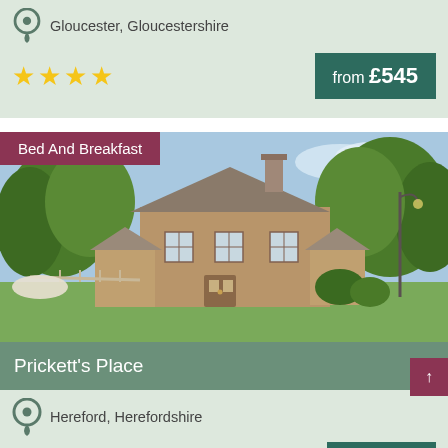Gloucester, Gloucestershire
[Figure (infographic): 4 yellow stars rating]
from £545
Bed And Breakfast
[Figure (photo): Photo of a stone cottage (Prickett's Place) with trees and blue sky]
Prickett's Place
Hereford, Herefordshire
from £80
Self-Catering